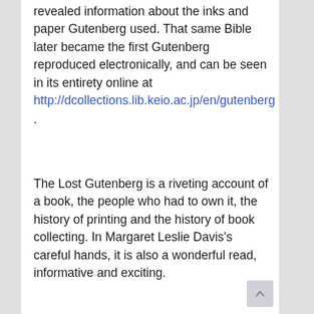revealed information about the inks and paper Gutenberg used. That same Bible later became the first Gutenberg reproduced electronically, and can be seen in its entirety online at http://dcollections.lib.keio.ac.jp/en/gutenberg .
The Lost Gutenberg is a riveting account of a book, the people who had to own it, the history of printing and the history of book collecting. In Margaret Leslie Davis's careful hands, it is also a wonderful read, informative and exciting.